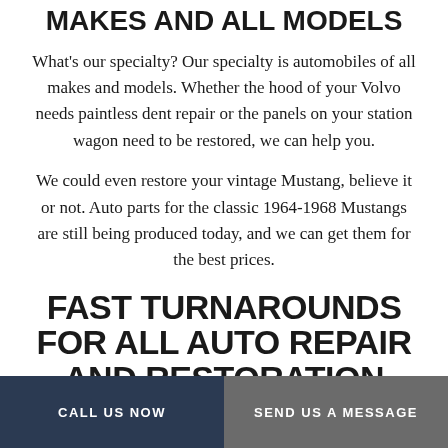MAKES AND ALL MODELS
What's our specialty? Our specialty is automobiles of all makes and models. Whether the hood of your Volvo needs paintless dent repair or the panels on your station wagon need to be restored, we can help you.
We could even restore your vintage Mustang, believe it or not. Auto parts for the classic 1964-1968 Mustangs are still being produced today, and we can get them for the best prices.
FAST TURNAROUNDS FOR ALL AUTO REPAIR AND RESTORATION
CALL US NOW | SEND US A MESSAGE